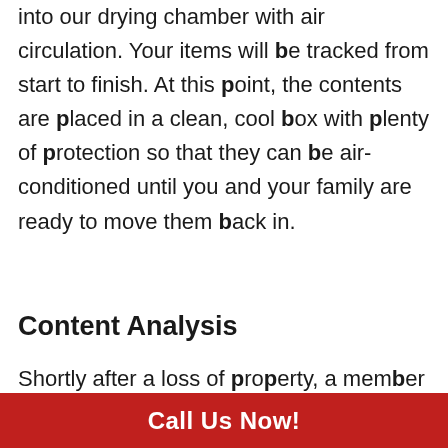into our drying chamber with air circulation. Your items will be tracked from start to finish. At this point, the contents are placed in a clean, cool box with plenty of protection so that they can be air-conditioned until you and your family are ready to move them back in.
Content Analysis
Shortly after a loss of property, a member of the content recovery team examines the affected items to determine which items are considered recoverable or unrecoverable.  Items that are considered unrecoverable have unfortunately suffered
Call Us Now!